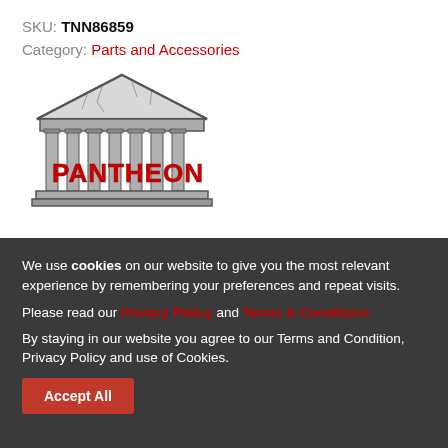SKU: TNN86859
Category: Parts and Accessories
[Figure (logo): Pantheon logo — a Greek temple illustration in dark sketch style with the word PANTHEON in bold red runic-style lettering across the columns]
We use cookies on our website to give you the most relevant experience by remembering your preferences and repeat visits.
Please read our Privacy Policy and Terms & Conditions
By staying in our website you agree to our Terms and Condition, Privacy Policy and use of Cookies.
Accept All